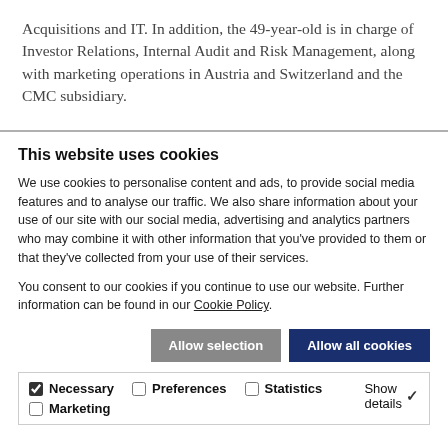Acquisitions and IT. In addition, the 49-year-old is in charge of Investor Relations, Internal Audit and Risk Management, along with marketing operations in Austria and Switzerland and the CMC subsidiary.
This website uses cookies
We use cookies to personalise content and ads, to provide social media features and to analyse our traffic. We also share information about your use of our site with our social media, advertising and analytics partners who may combine it with other information that you've provided to them or that they've collected from your use of their services.
You consent to our cookies if you continue to use our website. Further information can be found in our Cookie Policy.
Allow selection | Allow all cookies
Necessary  Preferences  Statistics  Marketing  Show details